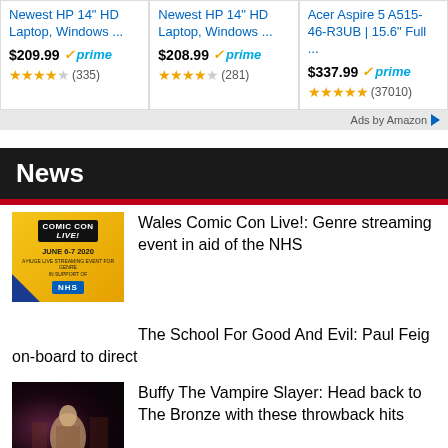[Figure (screenshot): Amazon product ad row showing 3 laptops: Newest HP 14 HD Laptop Windows $209.99 prime 4.5 stars (335); Newest HP 14 HD Laptop Windows $208.99 prime 4 stars (281); Acer Aspire 5 A515-46-R3UB 15.6 Full $337.99 prime 4.5 stars (37010)]
Ads by Amazon
News
[Figure (photo): Wales Comic Con Live! yellow poster - JUNE 6-7 2020, A HUGE LIVE STREAMING EVENT FOR GENRE IN SUPPORT OF NHS]
Wales Comic Con Live!: Genre streaming event in aid of the NHS
The School For Good And Evil: Paul Feig on-board to direct
[Figure (photo): Buffy The Vampire Slayer dark scene with a blonde figure at The Bronze]
Buffy The Vampire Slayer: Head back to The Bronze with these throwback hits